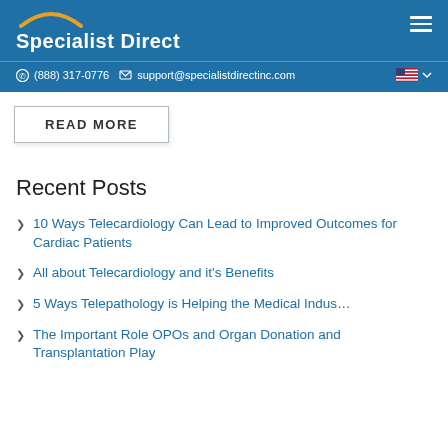Specialist Direct
(888) 317-0776   support@specialistdirectinc.com
READ MORE
Recent Posts
10 Ways Telecardiology Can Lead to Improved Outcomes for Cardiac Patients
All about Telecardiology and it's Benefits
5 Ways Telepathology is Helping the Medical Indus…
The Important Role OPOs and Organ Donation and Transplantation Play